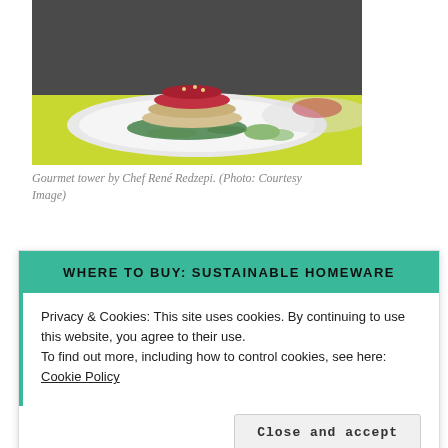[Figure (photo): A gourmet food tower dish by Chef René Redzepi, stacked on a white plate with garnishes, photographed on a yellow-green surface]
Gourmet tower by Chef René Redzepi. (Photo: Courtesy Image)
WHERE TO BUY: SUSTAINABLE HOMEWARE
Privacy & Cookies: This site uses cookies. By continuing to use this website, you agree to their use.
To find out more, including how to control cookies, see here: Cookie Policy
Close and accept